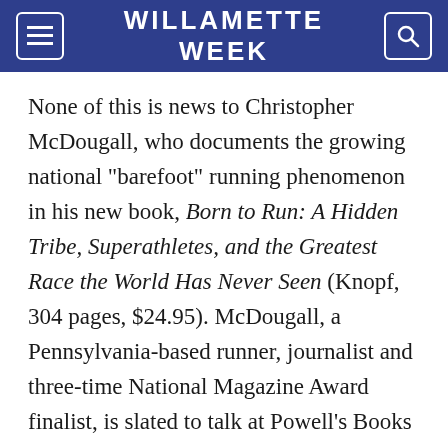WILLAMETTE WEEK
None of this is news to Christopher McDougall, who documents the growing national "barefoot" running phenomenon in his new book, Born to Run: A Hidden Tribe, Superathletes, and the Greatest Race the World Has Never Seen (Knopf, 304 pages, $24.95). McDougall, a Pennsylvania-based runner, journalist and three-time National Magazine Award finalist, is slated to talk at Powell's Books next Tuesday, within the shadow of his athletic-footwear devil. According to McDougall, that devil is Nike owner Phil Knight, whose expert marketing has doomed legions of